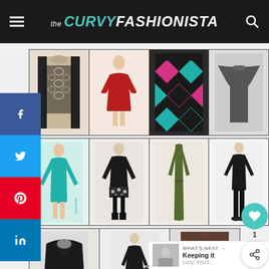the CURVY FASHIONISTA
[Figure (screenshot): Fashion blog grid showing plus-size sweater dresses. Row 1: lace print black/tan dress, red skater dress, argyle diamond pattern dress in pink/teal/black, dark grey batwing dress. Row 2: teal long-sleeve bodycon dress, black floral print mini dress, olive green maxi dress, black long-sleeve dress. Row 3: black hooded top, black swing dress, multicolor striped sweater dress.]
WHAT'S NEXT
Keeping it cozy: You'll...